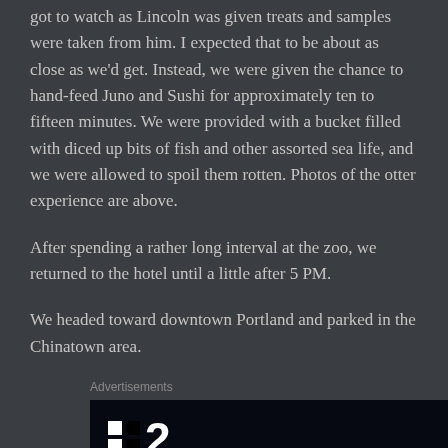got to watch as Lincoln was given treats and samples were taken from him. I expected that to be about as close as we'd get. Instead, we were given the chance to hand-feed Juno and Sushi for approximately ten to fifteen minutes. We were provided with a bucket filled with diced up bits of fish and other assorted sea life, and we were allowed to spoil them rotten. Photos of the otter experience are above.
After spending a rather long interval at the zoo, we returned to the hotel until a little after 5 PM.
We headed toward downtown Portland and parked in the Chinatown area.
Advertisements
[Figure (other): Dark advertisement box with white logo showing two small squares stacked and a number 2]